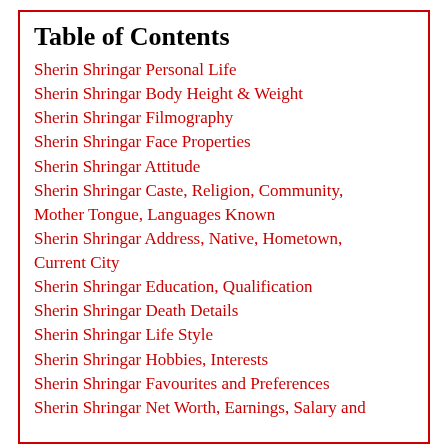Table of Contents
Sherin Shringar Personal Life
Sherin Shringar Body Height & Weight
Sherin Shringar Filmography
Sherin Shringar Face Properties
Sherin Shringar Attitude
Sherin Shringar Caste, Religion, Community, Mother Tongue, Languages Known
Sherin Shringar Address, Native, Hometown, Current City
Sherin Shringar Education, Qualification
Sherin Shringar Death Details
Sherin Shringar Life Style
Sherin Shringar Hobbies, Interests
Sherin Shringar Favourites and Preferences
Sherin Shringar Net Worth, Earnings, Salary and